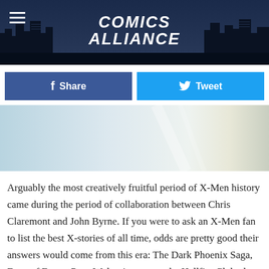Comics Alliance
[Figure (screenshot): Light blue/cream abstract image used as article header illustration]
Arguably the most creatively fruitful period of X-Men history came during the period of collaboration between Chris Claremont and John Byrne. If you were to ask an X-Men fan to list the best X-stories of all time, odds are pretty good their answers would come from this era: The Dark Phoenix Saga, Days of Future Past, Wolverine versus the Hellfire Club, the introduction of Kitty Pryde, that time Arcade brainwashed Colossus into thinking overalls were a good fashion choice